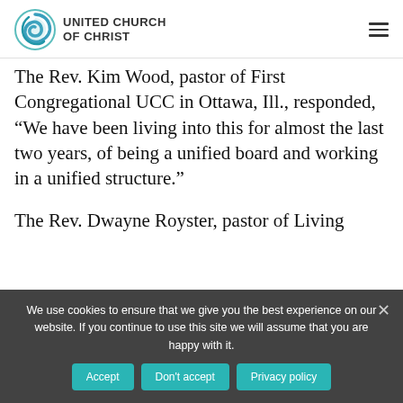UNITED CHURCH OF CHRIST
The Rev. Kim Wood, pastor of First Congregational UCC in Ottawa, Ill., responded, “We have been living into this for almost the last two years, of being a unified board and working in a unified structure.”
The Rev. Dwayne Royster, pastor of Living Way UCC, Philadelphia, ...
We use cookies to ensure that we give you the best experience on our website. If you continue to use this site we will assume that you are happy with it.